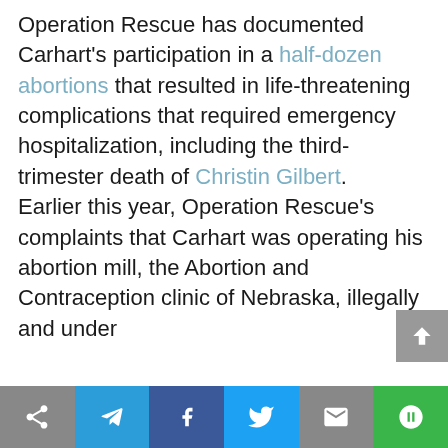Operation Rescue has documented Carhart's participation in a half-dozen abortions that resulted in life-threatening complications that required emergency hospitalization, including the third-trimester death of Christin Gilbert. Earlier this year, Operation Rescue's complaints that Carhart was operating his abortion mill, the Abortion and Contraception clinic of Nebraska, illegally and under
[Figure (other): Social share bar at bottom with icons: share/arrow, Telegram, Facebook, Twitter, email, copy-link (green). A scroll-to-top button (grey, up arrow) on the right side.]